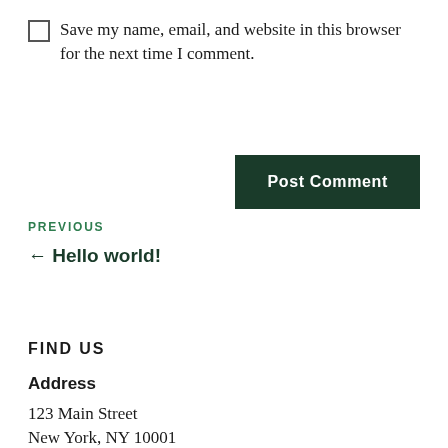Save my name, email, and website in this browser for the next time I comment.
Post Comment
PREVIOUS
← Hello world!
FIND US
Address
123 Main Street
New York, NY 10001